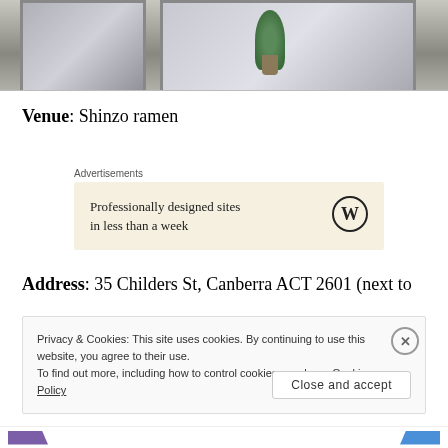[Figure (photo): Photo of a restaurant entrance with glass sliding doors and a potted plant visible inside]
Venue: Shinzo ramen
Advertisements
[Figure (infographic): WordPress advertisement: Professionally designed sites in less than a week]
Address: 35 Childers St, Canberra ACT 2601 (next to
Privacy & Cookies: This site uses cookies. By continuing to use this website, you agree to their use.
To find out more, including how to control cookies, see here: Cookie Policy
Close and accept